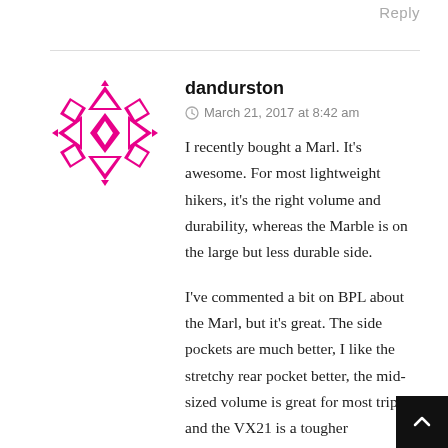Reply
[Figure (illustration): Pink geometric snowflake/quilt-pattern avatar for user dandurston]
dandurston
March 21, 2017 at 8:42 am
I recently bought a Marl. It's awesome. For most lightweight hikers, it's the right volume and durability, whereas the Marble is on the large but less durable side.
I've commented a bit on BPL about the Marl, but it's great. The side pockets are much better, I like the stretchy rear pocket better, the mid-sized volume is great for most trips and the VX21 is a tougher